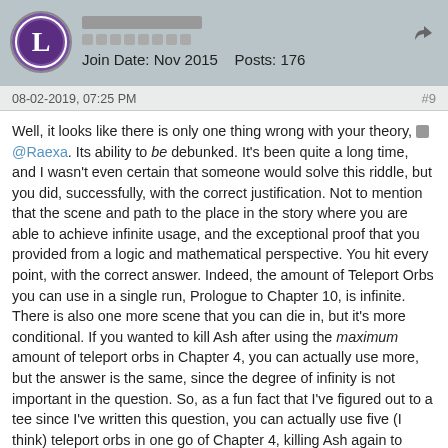Join Date: Nov 2015    Posts: 176
08-02-2019, 07:25 PM
#9
Well, it looks like there is only one thing wrong with your theory, @Raexa. Its ability to be debunked. It's been quite a long time, and I wasn't even certain that someone would solve this riddle, but you did, successfully, with the correct justification. Not to mention that the scene and path to the place in the story where you are able to achieve infinite usage, and the exceptional proof that you provided from a logic and mathematical perspective. You hit every point, with the correct answer. Indeed, the amount of Teleport Orbs you can use in a single run, Prologue to Chapter 10, is infinite. There is also one more scene that you can die in, but it's more conditional. If you wanted to kill Ash after using the maximum amount of teleport orbs in Chapter 4, you can actually use more, but the answer is the same, since the degree of infinity is not important in the question. So, as a fun fact that I've figured out to a tee since I've written this question, you can actually use five (I think) teleport orbs in one go of Chapter 4, killing Ash again to reset to the beginning of Chapter 4. If you did not